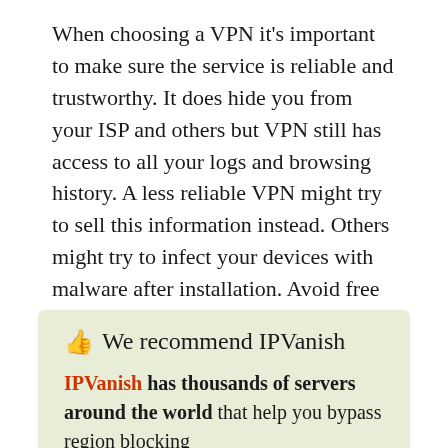When choosing a VPN it's important to make sure the service is reliable and trustworthy. It does hide you from your ISP and others but VPN still has access to all your logs and browsing history. A less reliable VPN might try to sell this information instead. Others might try to infect your devices with malware after installation. Avoid free VPNs, and subscribe to those like IPVanish for the most secure connection to ensure that your information stays private all the time.
👍 We recommend IPVanish

IPVanish has thousands of servers around the world that help you bypass region blocking